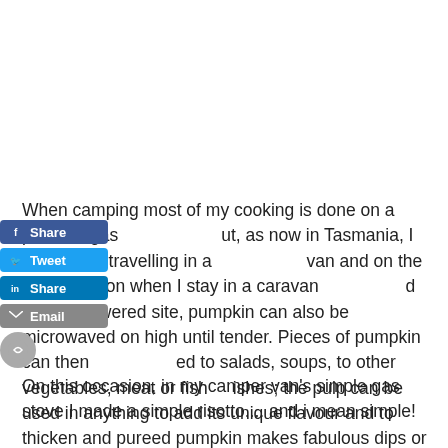When camping most of my cooking is done on a portable gas [Share] ut, as now in Tasmania, I have been travelling in a [Tweet] van and on the odd occasion when I stay in a caravan park and have a powered site, pumpkin can also be microwaved on high until tender. Pieces of pumpkin can then be added to salads, soups, to other vegetables, meat or fish dishes; the pulp can be used in anything to add its unique flavour and to thicken and pureed pumpkin makes fabulous dips or a side dish, especially when mixed with mashed potato.
On this occasion, in my camper van's simple gas stove I made a simple risotto.... and i mean simple!